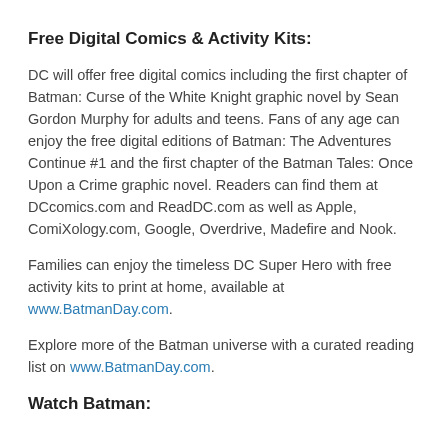Free Digital Comics & Activity Kits:
DC will offer free digital comics including the first chapter of Batman: Curse of the White Knight graphic novel by Sean Gordon Murphy for adults and teens. Fans of any age can enjoy the free digital editions of Batman: The Adventures Continue #1 and the first chapter of the Batman Tales: Once Upon a Crime graphic novel. Readers can find them at DCcomics.com and ReadDC.com as well as Apple, ComiXology.com, Google, Overdrive, Madefire and Nook.
Families can enjoy the timeless DC Super Hero with free activity kits to print at home, available at www.BatmanDay.com.
Explore more of the Batman universe with a curated reading list on www.BatmanDay.com.
Watch Batman: